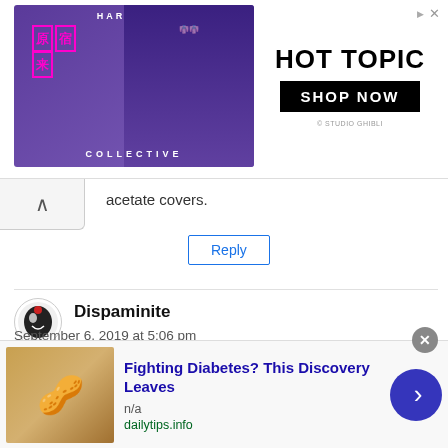[Figure (screenshot): Hot Topic advertisement banner featuring Harajuku Collective branding with two anime-style figures in purple/black outfits on a purple background, and Hot Topic logo with Shop Now button on the right]
acetate covers.
Reply
Dispaminite
September 6, 2019 at 5:06 pm
From my perspective, when looking at them for the August
[Figure (screenshot): Advertisement: Fighting Diabetes? This Discovery Leaves — n/a — dailytips.info, with cashew nuts image and blue arrow button]